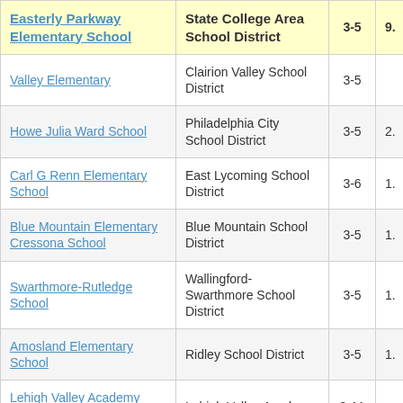| School | District | Grades | Value |
| --- | --- | --- | --- |
| Easterly Parkway Elementary School | State College Area School District | 3-5 | 9. |
| Valley Elementary | Clairion Valley School District | 3-5 |  |
| Howe Julia Ward School | Philadelphia City School District | 3-5 | 2. |
| Carl G Renn Elementary School | East Lycoming School District | 3-6 | 1. |
| Blue Mountain Elementary Cressona School | Blue Mountain School District | 3-5 | 1. |
| Swarthmore-Rutledge School | Wallingford-Swarthmore School District | 3-5 | 1. |
| Amosland Elementary School | Ridley School District | 3-5 | 1. |
| Lehigh Valley Academy Regional... | Lehigh Valley Academy | 3-11 |  |